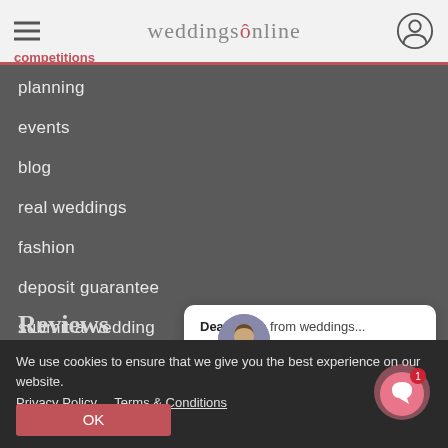[Figure (screenshot): weddingsonline website header with hamburger menu, logo, and user icon]
planning
events
blog
real weddings
fashion
deposit guarantee
submit a wedding
Dearbhaile from weddings...
Hi, I'm Dearbhaile, your totally free wedding...
Reviews
We use cookies to ensure that we give you the best experience on our website.
Privacy Policy   Terms & Conditions
OK